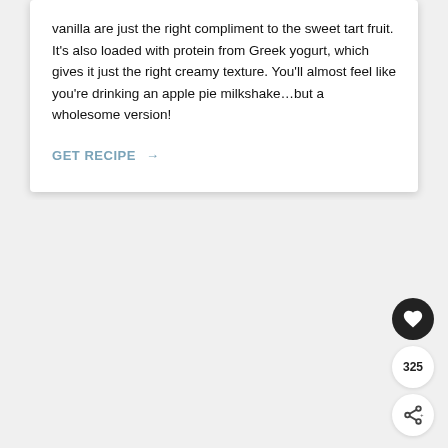vanilla are just the right compliment to the sweet tart fruit. It's also loaded with protein from Greek yogurt, which gives it just the right creamy texture. You'll almost feel like you're drinking an apple pie milkshake…but a wholesome version!
GET RECIPE →